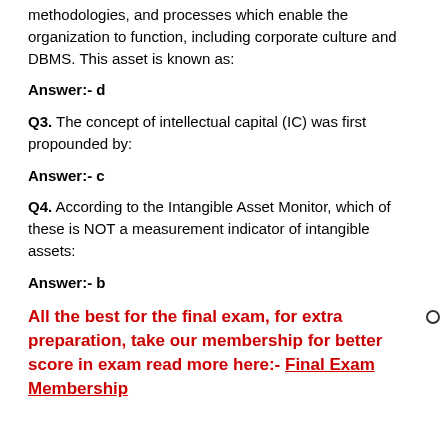methodologies, and processes which enable the organization to function, including corporate culture and DBMS. This asset is known as:
Answer:- d
Q3. The concept of intellectual capital (IC) was first propounded by:
Answer:- c
Q4. According to the Intangible Asset Monitor, which of these is NOT a measurement indicator of intangible assets:
Answer:- b
All the best for the final exam, for extra preparation, take our membership for better score in exam read more here:- Final Exam Membership